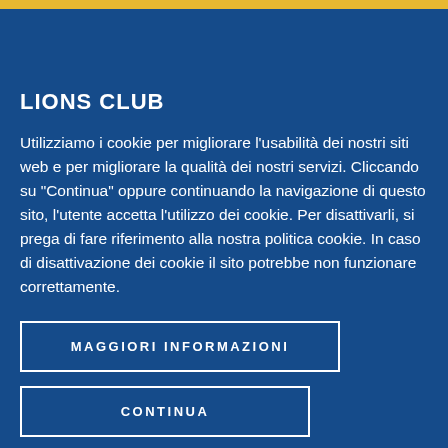LIONS CLUB
Utilizziamo i cookie per migliorare l'usabilità dei nostri siti web e per migliorare la qualità dei nostri servizi. Cliccando su "Continua" oppure continuando la navigazione di questo sito, l'utente accetta l'utilizzo dei cookie. Per disattivarli, si prega di fare riferimento alla nostra politica cookie. In caso di disattivazione dei cookie il sito potrebbe non funzionare correttamente.
MAGGIORI INFORMAZIONI
CONTINUA